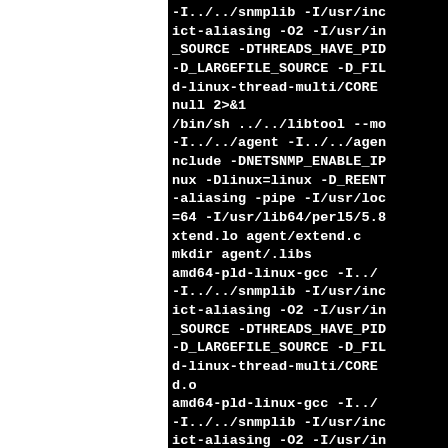[Figure (screenshot): Terminal/console output showing compiler commands on a black background with white monospace text. The left portion of the page is white space, the right portion is a black terminal showing truncated build command lines including gcc compiler flags such as -I../../snmplib, -I/usr/include, -O2, -DTHREADS_HAVE_PID, -DNETSNMP_ENABLE_IPV6, -Dlinux=linux, -D_REENTRANT, -aliasing, -pipe, -I/usr/local, -D_LARGEFILE_SOURCE, -D_FILE, thread-multi/CORE, null 2>&1, /bin/sh ../../libtool --mode, -I../../agent, nclude, nux, =64, xtend.lo agent/extend.c, mkdir agent/.libs, amd64-pld-linux-gcc, -I../../snmplib, ict-aliasing -O2, SOURCE -DTHREADS_HAVE_PID, -D_LARGEFILE_SOURCE, d-linux-thread-multi/CORE, d.o, amd64-pld-linux-gcc, -I../../snmplib, ict-aliasing -O2 -I/usr/in]